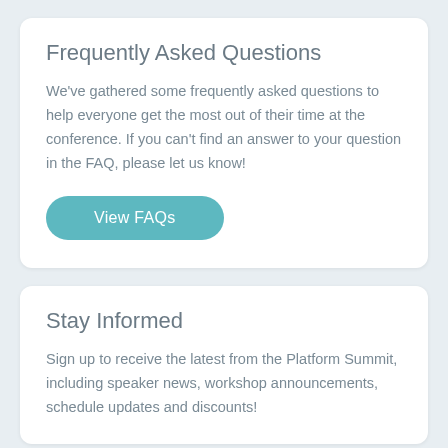Frequently Asked Questions
We've gathered some frequently asked questions to help everyone get the most out of their time at the conference. If you can't find an answer to your question in the FAQ, please let us know!
View FAQs
Stay Informed
Sign up to receive the latest from the Platform Summit, including speaker news, workshop announcements, schedule updates and discounts!